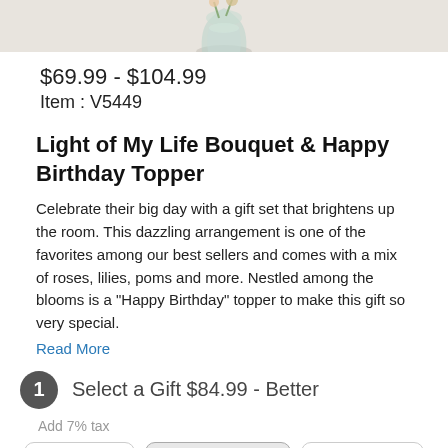[Figure (photo): Top portion of a floral bouquet arrangement in a glass vase on a light beige background]
$69.99 - $104.99
Item : V5449
Light of My Life Bouquet & Happy Birthday Topper
Celebrate their big day with a gift set that brightens up the room. This dazzling arrangement is one of the favorites among our best sellers and comes with a mix of roses, lilies, poms and more. Nestled among the blooms is a "Happy Birthday" topper to make this gift so very special.
Read More
1  Select a Gift $84.99 - Better
Add 7% tax
| GOOD | BETTER | BEST |
| --- | --- | --- |
| $69.99 | $84.99 | $104.99 |